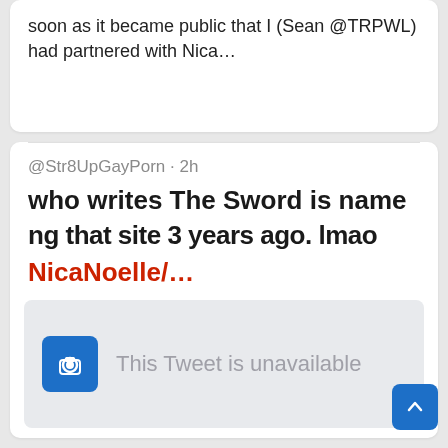soon as it became public that I (Sean @TRPWL) had partnered with Nica…
@Str8UpGayPorn · 2h
who writes The Sword is named that site 3 years ago. lmao NicaNoelle/…
[Figure (screenshot): This Tweet is unavailable panel with camera icon]